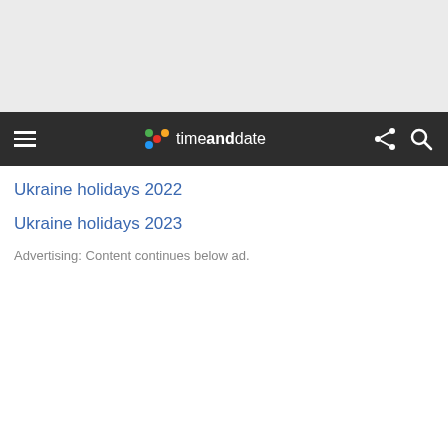[Figure (other): Gray advertisement placeholder area at top of page]
timeanddate — navigation bar with hamburger menu, logo, share and search icons
Ukraine holidays 2022
Ukraine holidays 2023
Advertising: Content continues below ad.